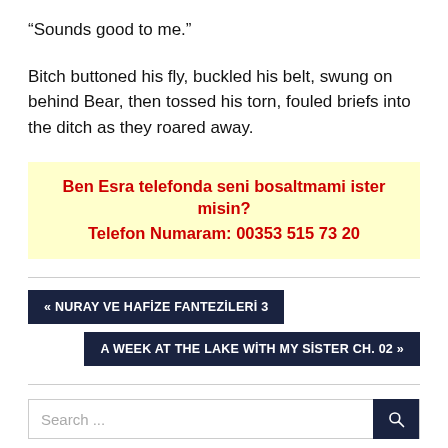“Sounds good to me.”
Bitch buttoned his fly, buckled his belt, swung on behind Bear, then tossed his torn, fouled briefs into the ditch as they roared away.
Ben Esra telefonda seni bosaltmami ister misin?
Telefon Numaram: 00353 515 73 20
« NURAY VE HAFİZE FANTEZİLERİ 3
A WEEK AT THE LAKE WİTH MY SİSTER CH. 02 »
Search ...